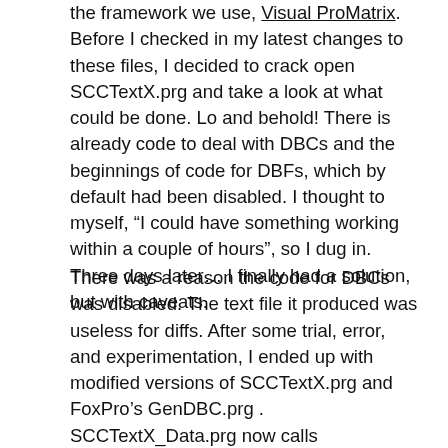the framework we use, Visual ProMatrix. Before I checked in my latest changes to these files, I decided to crack open SCCTextX.prg and take a look at what could be done. Lo and behold! There is already code to deal with DBCs and the beginnings of code for DBFs, which by default had been disabled. I thought to myself, “I could have something working within a couple of hours”, so I dug in. Three days later… I finally had a solution, but with caveats.
There was a reason the code for DBCs was disabled. The text file it produced was useless for diffs. After some trial, error, and experimentation, I ended up with modified versions of SCCTextX.prg and FoxPro’s GenDBC.prg . SCCTextX_Data.prg now calls GenDBC_SCCTextX.prg to generate a text file for DBCs. It expects GenDBC_SCCTextX.prg to be in the same directory as SCCTextX_Data.prg. I made two modifications to the GenDBC program. The first was to sort the entries, so